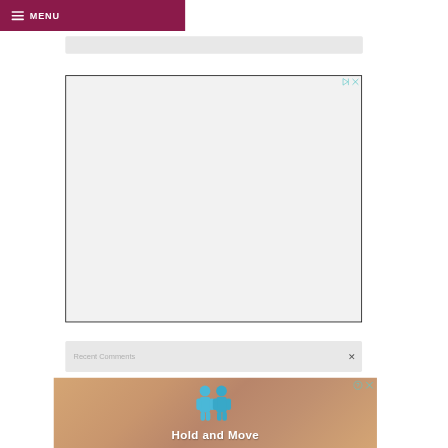MENU
[Figure (other): Gray placeholder bar at top of content area]
[Figure (other): Large advertisement placeholder box with border, with play and close icons in top right corner]
Recent Comments
[Figure (other): Advertisement banner showing blue cartoon figures and text 'Hold and Move' on a sandy/wooden background]